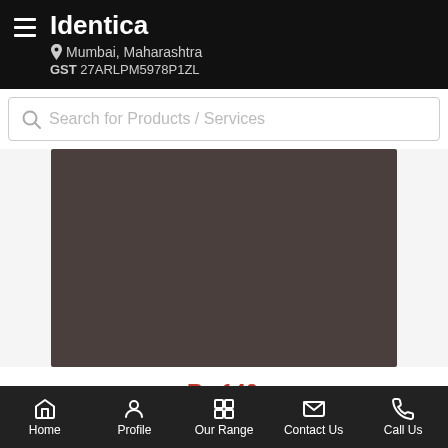Identica
Mumbai, Maharashtra
GST 27ARLPM5978P1ZL
Search for Products / Services
[Figure (photo): Dark brownish-gray product image placeholder]
Approx. Price: Rs 140 / Running Inch
Product Details:
Minimum Order Quantity: 100 Running Inch
Home | Profile | Our Range | Contact Us | Call Us